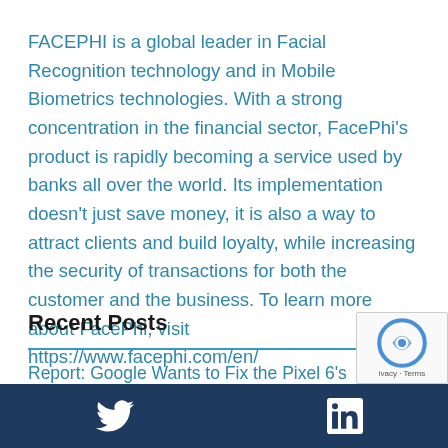FACEPHI is a global leader in Facial Recognition technology and in Mobile Biometrics technologies. With a strong concentration in the financial sector, FacePhi's product is rapidly becoming a service used by banks all over the world. Its implementation doesn't just save money, it is also a way to attract clients and build loyalty, while increasing the security of transactions for both the customer and the business. To learn more about FacePhi, visit https://www.facephi.com/en/
Recent Posts
Report: Google Wants to Fix the Pixel 6's Fingerprint Scanner With Facial Recognition